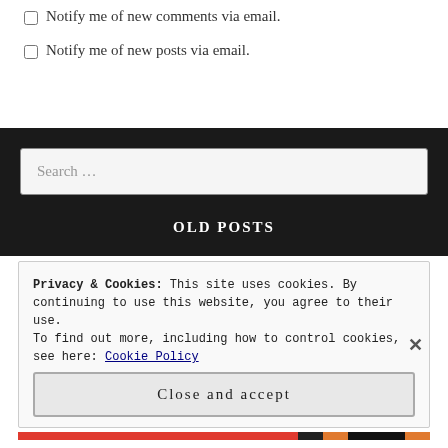Notify me of new comments via email.
Notify me of new posts via email.
OLD POSTS
Privacy & Cookies: This site uses cookies. By continuing to use this website, you agree to their use.
To find out more, including how to control cookies, see here: Cookie Policy
Close and accept